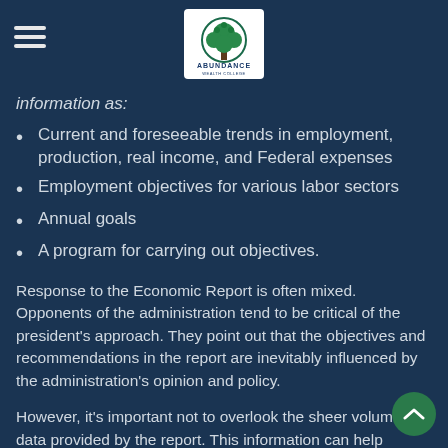Abundance [logo]
information as:
Current and foreseeable trends in employment, production, real income, and Federal expenses
Employment objectives for various labor sectors
Annual goals
A program for carrying out objectives.
Response to the Economic Report is often mixed. Opponents of the administration tend to be critical of the president's approach. They point out that the objectives and recommendations in the report are inevitably influenced by the administration's opinion and policy.
However, it's important not to overlook the sheer volume of data provided by the report. This information can help identify the forces driving—or dragging—the economy.